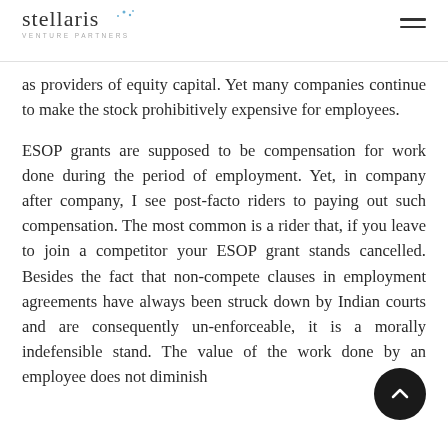Stellaris Venture Partners
as providers of equity capital. Yet many companies continue to make the stock prohibitively expensive for employees.
ESOP grants are supposed to be compensation for work done during the period of employment. Yet, in company after company, I see post-facto riders to paying out such compensation. The most common is a rider that, if you leave to join a competitor your ESOP grant stands cancelled. Besides the fact that non-compete clauses in employment agreements have always been struck down by Indian courts and are consequently un-enforceable, it is a morally indefensible stand. The value of the work done by an employee does not diminish